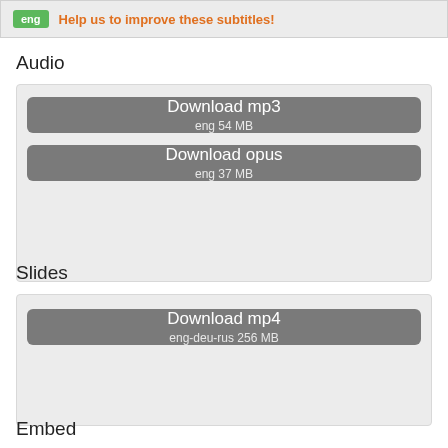eng  Help us to improve these subtitles!
Audio
Download mp3
eng 54 MB
Download opus
eng 37 MB
Slides
Download mp4
eng-deu-rus 256 MB
Embed